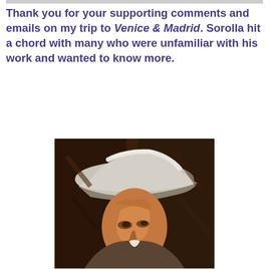Thank you for your supporting comments and emails on my trip to Venice & Madrid. Sorolla hit a chord with many who were unfamiliar with his work and wanted to know more.
[Figure (photo): A painting/portrait of a bearded man wearing a wide-brimmed white hat, viewed in three-quarter profile. The style resembles an impressionist oil painting, with warm browns and oranges. Believed to be a self-portrait by Joaquín Sorolla.]